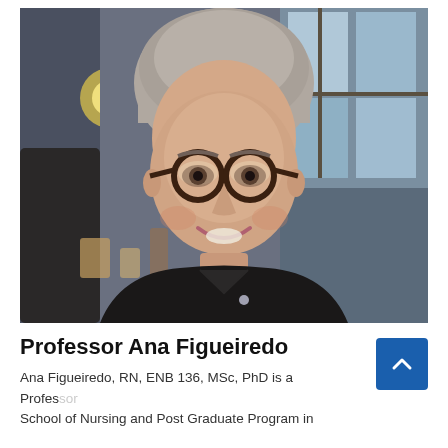[Figure (photo): Portrait photo of Professor Ana Figueiredo, a woman with short grey hair, wearing dark round-framed glasses and a dark blazer, smiling at the camera in an indoor restaurant setting.]
Professor Ana Figueiredo
Ana Figueiredo, RN, ENB 136, MSc, PhD is a Professor School of Nursing and Post Graduate Program in